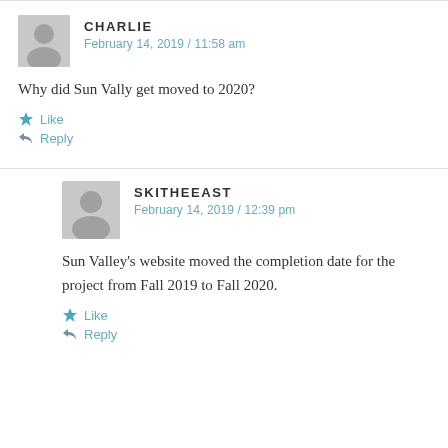CHARLIE
February 14, 2019 / 11:58 am
Why did Sun Vally get moved to 2020?
Like
Reply
SKITHEEAST
February 14, 2019 / 12:39 pm
Sun Valley's website moved the completion date for the project from Fall 2019 to Fall 2020.
Like
Reply